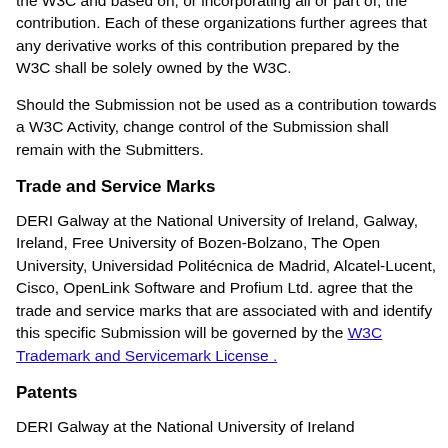the W3C and based on, or incorporating all or part of, the contribution. Each of these organizations further agrees that any derivative works of this contribution prepared by the W3C shall be solely owned by the W3C.
Should the Submission not be used as a contribution towards a W3C Activity, change control of the Submission shall remain with the Submitters.
Trade and Service Marks
DERI Galway at the National University of Ireland, Galway, Ireland, Free University of Bozen-Bolzano, The Open University, Universidad Politécnica de Madrid, Alcatel-Lucent, Cisco, OpenLink Software and Profium Ltd. agree that the trade and service marks that are associated with and identify this specific Submission will be governed by the W3C Trademark and Servicemark License .
Patents
DERI Galway at the National University of Ireland